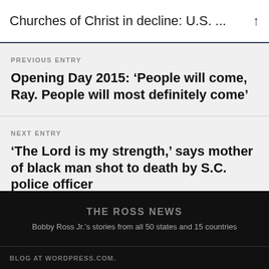Churches of Christ in decline: U.S. ...
PREVIOUS ENTRY
Opening Day 2015: ‘People will come, Ray. People will most definitely come’
NEXT ENTRY
‘The Lord is my strength,’ says mother of black man shot to death by S.C. police officer
THE ROSS NEWS
Bobby Ross Jr.’s stories from all 50 states and 15 countries
BLOG AT WORDPRESS.COM.